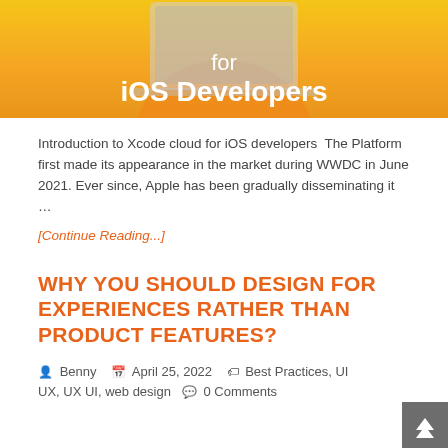[Figure (illustration): Promotional banner image with orange/yellow background and text 'for iOS Developers' in white]
Introduction to Xcode cloud for iOS developers  The Platform first made its appearance in the market during WWDC in June 2021. Ever since, Apple has been gradually disseminating it …
[Continue Reading...]
WHY YOU SHOULD DESIGN FOR EXPERIENCES RATHER THAN PRODUCT FEATURES?
Benny   April 25, 2022   Best Practices, UI UX, UX UI, web design   0 Comments